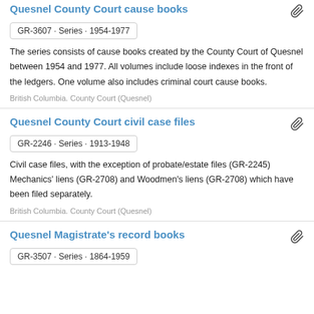Quesnel County Court cause books
GR-3607 · Series · 1954-1977
The series consists of cause books created by the County Court of Quesnel between 1954 and 1977. All volumes include loose indexes in the front of the ledgers. One volume also includes criminal court cause books.
British Columbia. County Court (Quesnel)
Quesnel County Court civil case files
GR-2246 · Series · 1913-1948
Civil case files, with the exception of probate/estate files (GR-2245) Mechanics' liens (GR-2708) and Woodmen's liens (GR-2708) which have been filed separately.
British Columbia. County Court (Quesnel)
Quesnel Magistrate's record books
GR-3507 · Series · 1864-1959